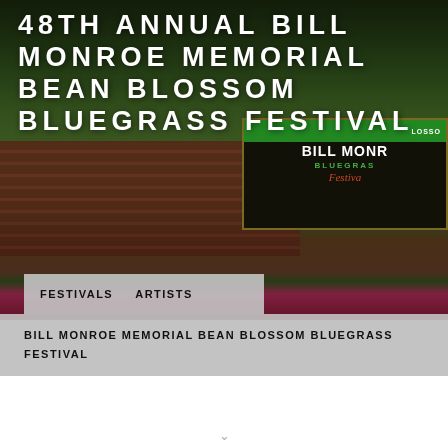[Figure (photo): Outdoor photo of the Bill Monroe Memorial Bean Blossom Bluegrass Festival venue showing a brick building with a large sign reading 'BILL MONROE BLUEGRASS Festival' and colorful flowers in the foreground with trees in the background.]
48TH ANNUAL BILL MONROE MEMORIAL BEAN BLOSSOM BLUEGRASS FESTIVAL
FESTIVALS   ARTISTS
BILL MONROE MEMORIAL BEAN BLOSSOM BLUEGRASS FESTIVAL